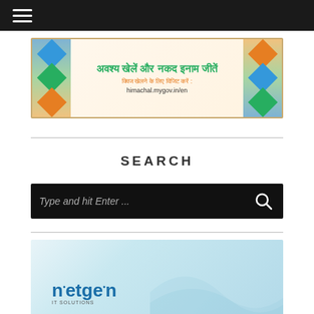Navigation menu (hamburger icon)
[Figure (photo): Himachal Pradesh government promotional banner in Hindi: 'अवश्य खेलें और नकद इनाम जीतें' (Must play and win cash prizes), with subtext 'क्विज खेलने के लिए विजिट करें: himachal.mygov.in/en'. Banner has decorative border and collage photos.]
SEARCH
[Figure (screenshot): Search input box with placeholder text 'Type and hit Enter ...' on dark/black background with search icon on right]
[Figure (logo): Netgen IT Solutions logo on light blue gradient background]